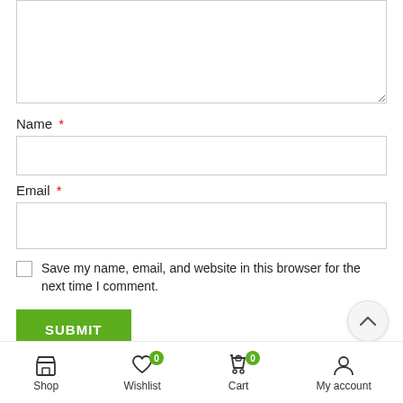[Figure (screenshot): Textarea input box at the top of the form, partially visible]
Name *
[Figure (screenshot): Name text input field]
Email *
[Figure (screenshot): Email text input field]
Save my name, email, and website in this browser for the next time I comment.
SUBMIT
Shop   Wishlist 0   Cart 0   My account